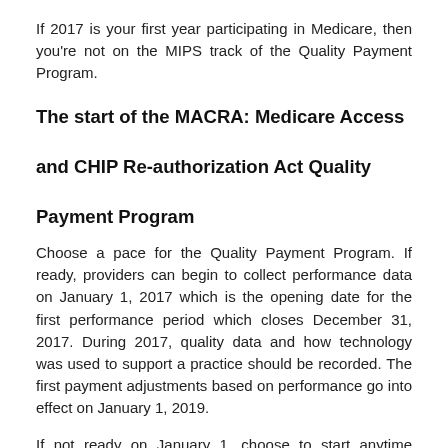If 2017 is your first year participating in Medicare, then you're not on the MIPS track of the Quality Payment Program.
The start of the MACRA: Medicare Access and CHIP Re-authorization Act Quality Payment Program
Choose a pace for the Quality Payment Program. If ready, providers can begin to collect performance data on January 1, 2017 which is the opening date for the first performance period which closes December 31, 2017. During 2017, quality data and how technology was used to support a practice should be recorded. The first payment adjustments based on performance go into effect on January 1, 2019.
If not ready on January 1, choose to start anytime between January 1 and October 2, 2017. Whenever a provider starts, they will only have to report a